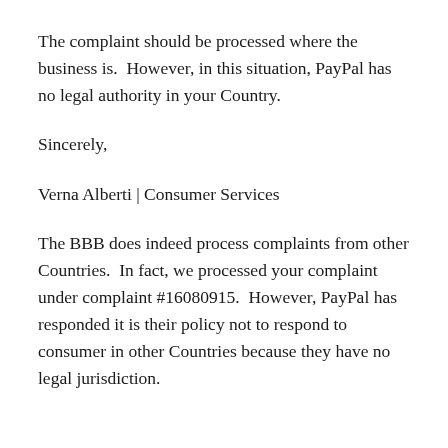The complaint should be processed where the business is.  However, in this situation, PayPal has no legal authority in your Country.
Sincerely,
Verna Alberti | Consumer Services
The BBB does indeed process complaints from other Countries.  In fact, we processed your complaint under complaint #16080915.  However, PayPal has responded it is their policy not to respond to consumer in other Countries because they have no legal jurisdiction.